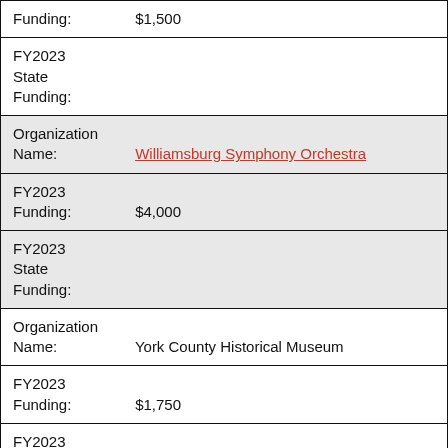| Funding: | $1,500 |
| FY2023
State
Funding: |  |
| Organization
Name: | Williamsburg Symphony Orchestra |
| FY2023
Funding: | $4,000 |
| FY2023
State
Funding: |  |
| Organization
Name: | York County Historical Museum |
| FY2023
Funding: | $1,750 |
| FY2023
State |  |